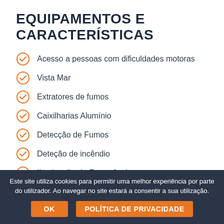EQUIPAMENTOS E CARACTERÍSTICAS
Acesso a pessoas com dificuldades motoras
Vista Mar
Extratores de fumos
Caixilharias Alumínio
Detecção de Fumos
Deteção de incêndio
Iluminação de Emergência
Este site utiliza cookies para permitir uma melhor experiência por parte do utilizador. Ao navegar no site estará a consentir a sua utilização.
OK | POLÍTICA DE PRIVACIDADE